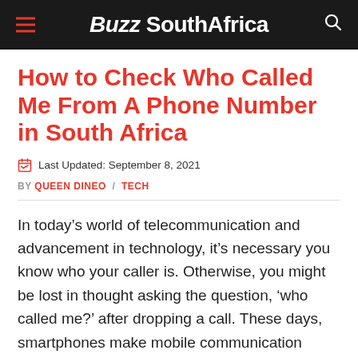Buzz SouthAfrica
How to Check Who Called Me From A Phone Number in South Africa
Last Updated: September 8, 2021
BY QUEEN DINEO / TECH
In today’s world of telecommunication and advancement in technology, it’s necessary you know who your caller is. Otherwise, you might be lost in thought asking the question, ‘who called me?’ after dropping a call. These days, smartphones make mobile communication easy, with caller ID apps built